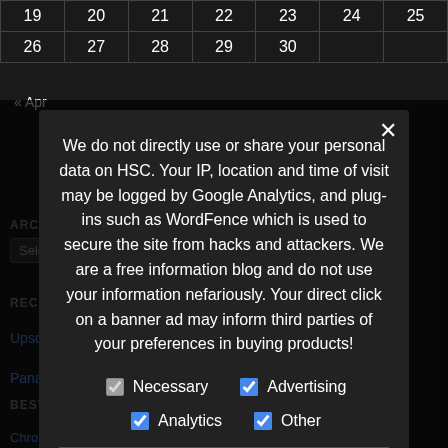|  |  |  |  |  |  |  |
| --- | --- | --- | --- | --- | --- | --- |
| 19 | 20 | 21 | 22 | 23 | 24 | 25 |
| 26 | 27 | 28 | 29 | 30 |  |  |
« Apr
ARCHIVES
Select Month
RECENT POSTS
Upscaling high speed video to usable Full HD and/or 4k!
Panasonic Lumix GH6 does 300fps in Full HD!
BEST SLOW MOTION C…
Chronos Camera m43 Lens A… Speedbooster Support!
We do not directly use or share your personal data on HSC. Your IP, location and time of visit may be logged by Google Analytics, and plug-ins such as WordFence which is used to secure the site from hacks and attackers. We are a free information blog and do not use your information nefariously. Your direct click on a banner ad may inform third parties of your preferences in buying products!
Necessary
Advertising
Analytics
Other
Privacy Preferences
I Agree